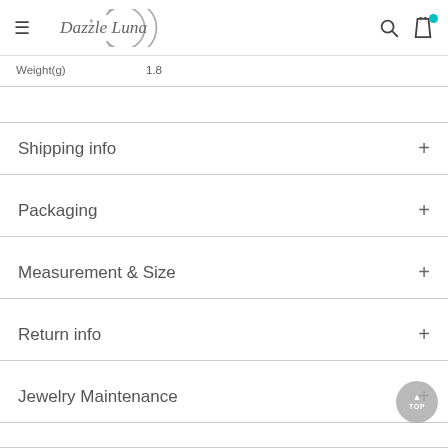Dazzle Luna — navigation header with hamburger menu, logo, search icon, bag icon
| Weight(g) | 1.8 |
| --- | --- |
Shipping info
Packaging
Measurement & Size
Return info
Jewelry Maintenance